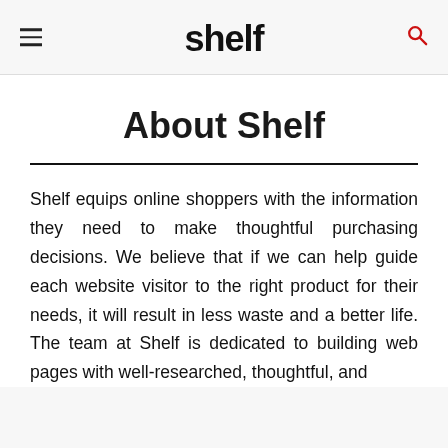shelf
About Shelf
Shelf equips online shoppers with the information they need to make thoughtful purchasing decisions. We believe that if we can help guide each website visitor to the right product for their needs, it will result in less waste and a better life. The team at Shelf is dedicated to building web pages with well-researched, thoughtful, and